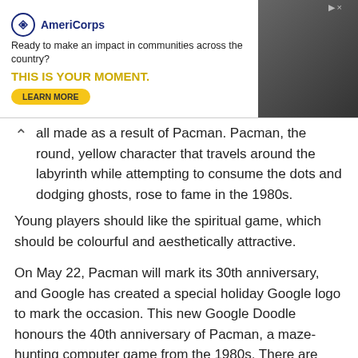[Figure (other): AmeriCorps advertisement banner. Logo with circular emblem, tagline 'Ready to make an impact in communities across the country?', bold yellow headline 'THIS IS YOUR MOMENT.', and a 'LEARN MORE' button. Right side shows a dark background with people at a desk.]
all made as a result of Pacman. Pacman, the round, yellow character that travels around the labyrinth while attempting to consume the dots and dodging ghosts, rose to fame in the 1980s.
Young players should like the spiritual game, which should be colourful and aesthetically attractive.
On May 22, Pacman will mark its 30th anniversary, and Google has created a special holiday Google logo to mark the occasion. This new Google Doodle honours the 40th anniversary of Pacman, a maze-hunting computer game from the 1980s. There are several Google holiday logos, such as the original, but this one includes the Google Pacman holiday logo, the first Pacman holiday logo that interacts with every game you play.